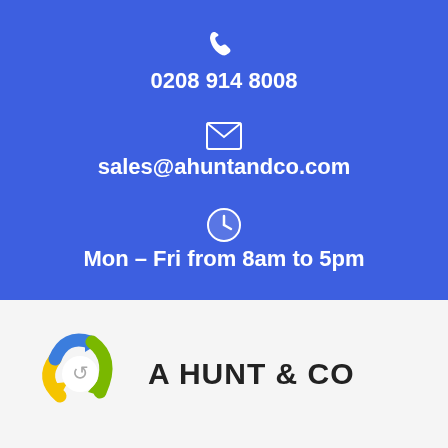[Figure (infographic): Blue contact info panel with phone icon, phone number 0208 914 8008, email icon, email sales@ahuntandco.com, clock icon, and hours Mon - Fri from 8am to 5pm]
0208 914 8008
sales@ahuntandco.com
Mon - Fri from 8am to 5pm
[Figure (logo): A Hunt & Co logo with circular recycling arrows in blue, yellow, and green, and company name A HUNT & CO in bold dark text]